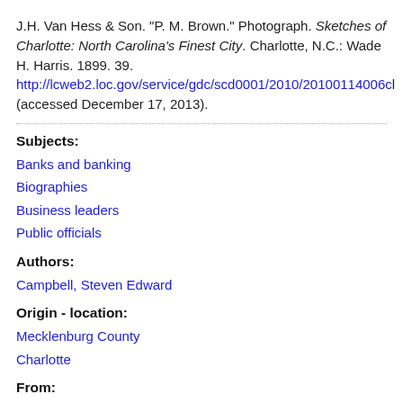J.H. Van Hess & Son. "P. M. Brown." Photograph. Sketches of Charlotte: North Carolina's Finest City. Charlotte, N.C.: Wade H. Harris. 1899. 39. http://lcweb2.loc.gov/service/gdc/scd0001/2010/20100114006cl (accessed December 17, 2013).
Subjects:
Banks and banking
Biographies
Business leaders
Public officials
Authors:
Campbell, Steven Edward
Origin - location:
Mecklenburg County
Charlotte
From:
Digital collections, North Carolina...